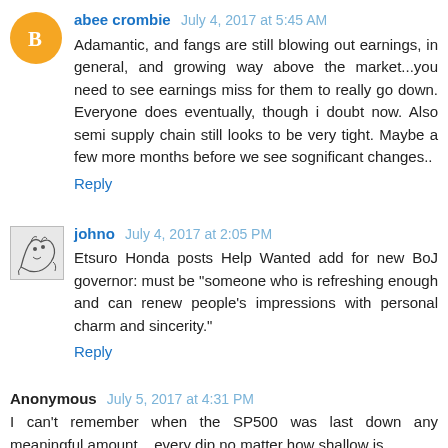abee crombie July 4, 2017 at 5:45 AM
Adamantic, and fangs are still blowing out earnings, in general, and growing way above the market...you need to see earnings miss for them to really go down. Everyone does eventually, though i doubt now. Also semi supply chain still looks to be very tight. Maybe a few more months before we see sognificant changes..
Reply
johno July 4, 2017 at 2:05 PM
Etsuro Honda posts Help Wanted add for new BoJ governor: must be "someone who is refreshing enough and can renew people's impressions with personal charm and sincerity."
Reply
Anonymous July 5, 2017 at 4:31 PM
I can't remember when the SP500 was last down any meaningful amount... every dip no matter how shallow is